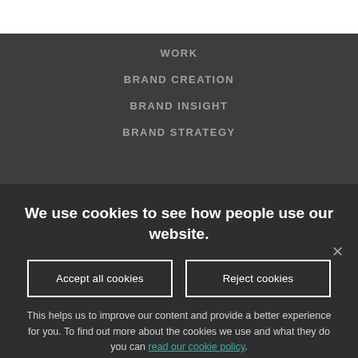WORK
BRAND CREATION
BRAND INSIGHT
BRAND STRATEGY
We use cookies to see how people use our website.
Accept all cookies
Reject cookies
This helps us to improve our content and provide a better experience for you. To find out more about the cookies we use and what they do you can read our cookie policy